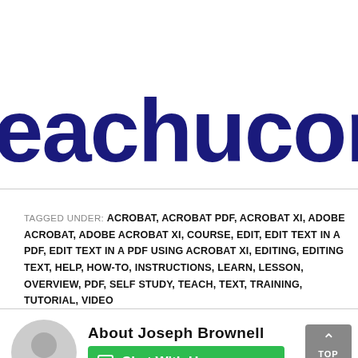teachucomp.co
TAGGED UNDER: ACROBAT, ACROBAT PDF, ACROBAT XI, ADOBE ACROBAT, ADOBE ACROBAT XI, COURSE, EDIT, EDIT TEXT IN A PDF, EDIT TEXT IN A PDF USING ACROBAT XI, EDITING, EDITING TEXT, HELP, HOW-TO, INSTRUCTIONS, LEARN, LESSON, OVERVIEW, PDF, SELF STUDY, TEACH, TEXT, TRAINING, TUTORIAL, VIDEO
ABOUT JOSEPH BROWNELL